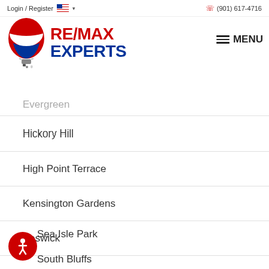Login / Register  (901) 617-4716
[Figure (logo): RE/MAX Experts logo with hot air balloon and text]
Evergreen
Hickory Hill
High Point Terrace
Kensington Gardens
Keswick
Raleigh
Sea Isle Park
South Bluffs